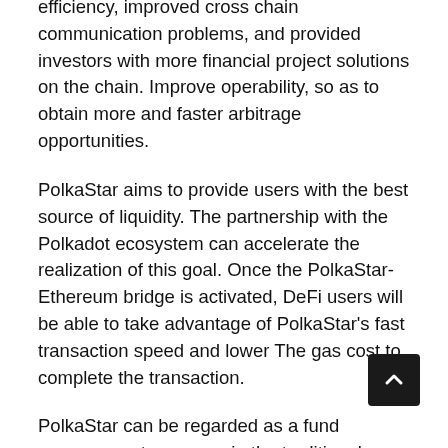efficiency, improved cross chain communication problems, and provided investors with more financial project solutions on the chain. Improve operability, so as to obtain more and faster arbitrage opportunities.
PolkaStar aims to provide users with the best source of liquidity. The partnership with the Polkadot ecosystem can accelerate the realization of this goal. Once the PolkaStar-Ethereum bridge is activated, DeFi users will be able to take advantage of PolkaStar's fast transaction speed and lower The gas cost to complete the transaction.
PolkaStar can be regarded as a fund management company in the traditional financial market. The traditional fund team makes portfolio investment through human judgment to obtain income, while PolkaStar replaces the centralized management team through smart contracts, which is decentralized. In cross-chain financial products the best and most suitable points are constantly selected for transactions to expand the income, and the income obtained is then distributed to participating investors